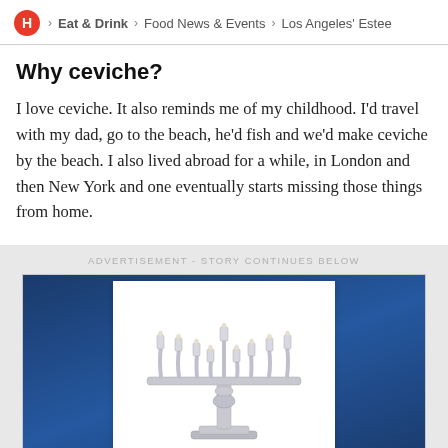H > Eat & Drink > Food News & Events > Los Angeles' Estee
Why ceviche?
I love ceviche. It also reminds me of my childhood. I'd travel with my dad, go to the beach, he'd fish and we'd make ceviche by the beach. I also lived abroad for a while, in London and then New York and one eventually starts missing those things from home.
ADVERTISEMENT - STORY CONTINUES BELOW
[Figure (photo): Advertisement banner with blue background containing a silver menorah (Jewish candelabrum) displayed on a white background inset frame]